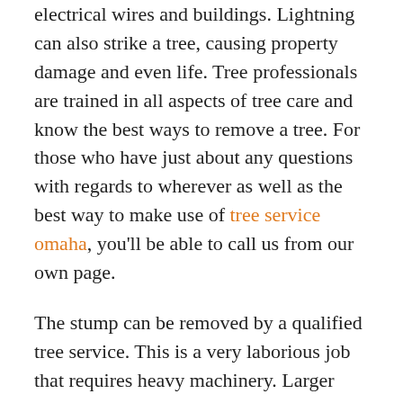electrical wires and buildings. Lightning can also strike a tree, causing property damage and even life. Tree professionals are trained in all aspects of tree care and know the best ways to remove a tree. For those who have just about any questions with regards to wherever as well as the best way to make use of tree service omaha, you'll be able to call us from our own page.
The stump can be removed by a qualified tree service. This is a very laborious job that requires heavy machinery. Larger trees cannot be removed by truck or chains. Although stump grinding may be a specialist service, it's important to understand that tree roots take a very long time to break down. If you choose to leave a stump from a tree, it is important to properly dispose of it.